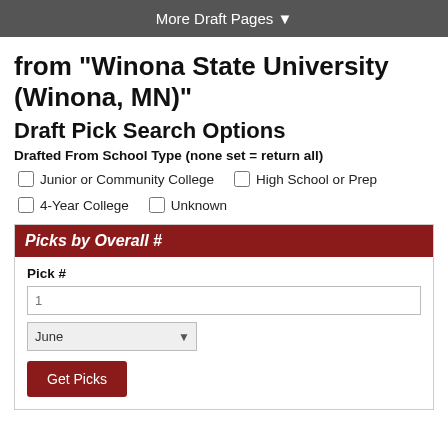More Draft Pages ▼
from "Winona State University (Winona, MN)"
Draft Pick Search Options
Drafted From School Type (none set = return all)
Junior or Community College
High School or Prep
4-Year College
Unknown
Picks by Overall #
Pick #
1
June
Get Picks